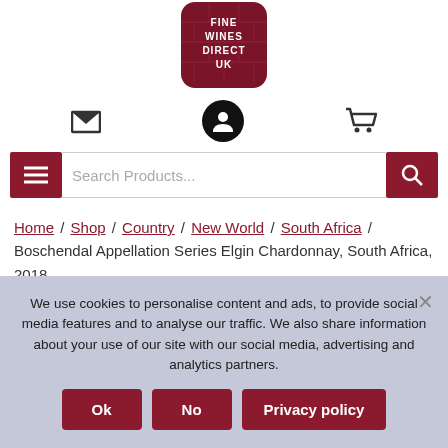[Figure (logo): Fine Wines Direct UK logo — dark red rounded square badge with brick/barrel texture and white text reading FINE WINES DIRECT UK]
[Figure (infographic): Navigation icons row: envelope/mail icon, black circular user/profile icon, shopping cart icon]
[Figure (screenshot): Navigation bar with dark red hamburger menu button, search products text input, and dark red search button]
Home / Shop / Country / New World / South Africa / Boschendal Appellation Series Elgin Chardonnay, South Africa, 2018
We use cookies to personalise content and ads, to provide social media features and to analyse our traffic. We also share information about your use of our site with our social media, advertising and analytics partners.
Ok | No | Privacy policy